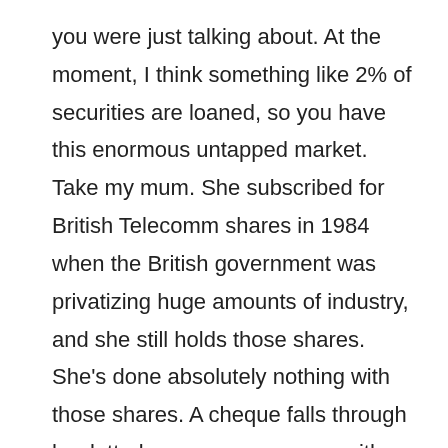you were just talking about. At the moment, I think something like 2% of securities are loaned, so you have this enormous untapped market. Take my mum. She subscribed for British Telecomm shares in 1984 when the British government was privatizing huge amounts of industry, and she still holds those shares. She's done absolutely nothing with those shares. A cheque falls through her letterbox once every year with probably £4.72 on it as her dividend, and the whole thing is just completely barking mad. Actually what you should be able to do is to try to bring all of that together to number one, allow retail investors to do something with securities, to put those up for a loan and start to earn extra interest on terms that she can specify through her